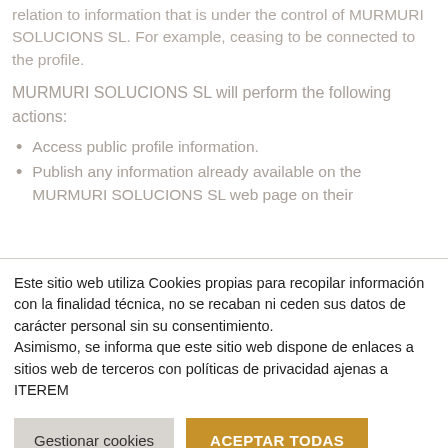relation to information that is under the control of MURMURI SOLUCIONS SL. For example, ceasing to be connected to the profile.
MURMURI SOLUCIONS SL will perform the following actions:
Access public profile information.
Publish any information already available on the MURMURI SOLUCIONS SL web page on their
Este sitio web utiliza Cookies propias para recopilar información con la finalidad técnica, no se recaban ni ceden sus datos de carácter personal sin su consentimiento.
Asimismo, se informa que este sitio web dispone de enlaces a sitios web de terceros con políticas de privacidad ajenas a ITEREM